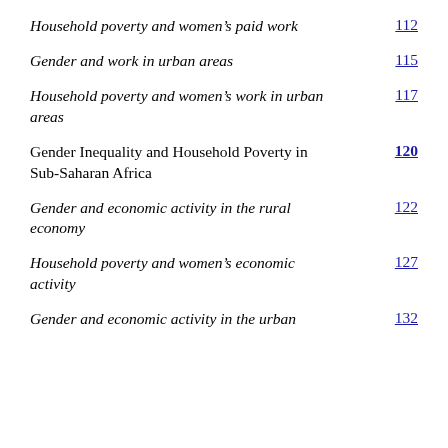Household poverty and women's paid work  112
Gender and work in urban areas  115
Household poverty and women's work in urban areas  117
Gender Inequality and Household Poverty in Sub-Saharan Africa  120
Gender and economic activity in the rural economy  122
Household poverty and women's economic activity  127
Gender and economic activity in the urban …  132